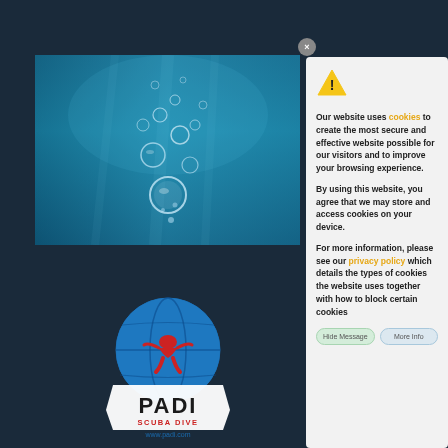[Figure (photo): Underwater photo showing bubbles rising through blue water, and PADI scuba diver logo at bottom left on dark background]
Our website uses cookies to create the most secure and effective website possible for our visitors and to improve your browsing experience.
By using this website, you agree that we may store and access cookies on your device.
For more information, please see our privacy policy which details the types of cookies the website uses together with how to block certain cookies
Hide Message
More Info